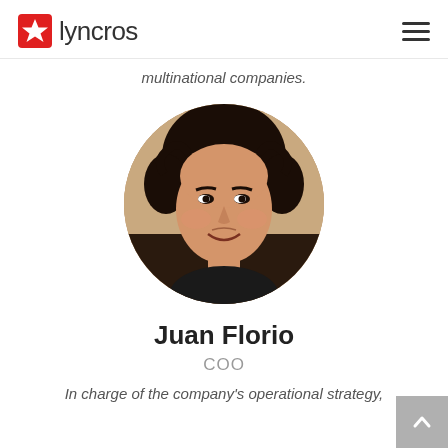lyncros
multinational companies.
[Figure (photo): Circular portrait photo of Juan Florio, a young man with dark curly hair, smiling, in front of a stone-textured background.]
Juan Florio
COO
In charge of the company's operational strategy,